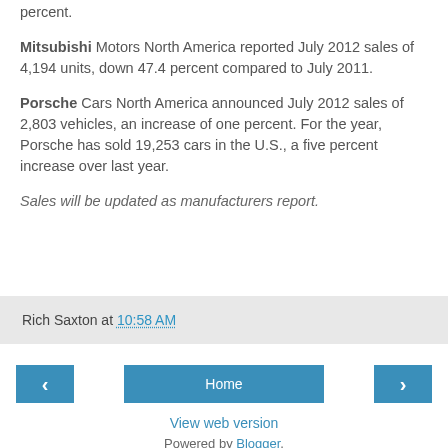percent.
Mitsubishi Motors North America reported July 2012 sales of 4,194 units, down 47.4 percent compared to July 2011.
Porsche Cars North America announced July 2012 sales of 2,803 vehicles, an increase of one percent. For the year, Porsche has sold 19,253 cars in the U.S., a five percent increase over last year.
Sales will be updated as manufacturers report.
Rich Saxton at 10:58 AM
Home
View web version
Powered by Blogger.